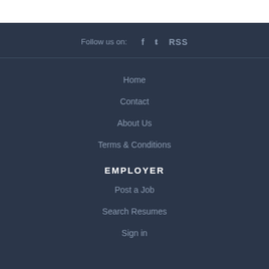Follow us on: f [twitter] RSS
Home
Contact
About Us
Terms & Conditions
EMPLOYER
Post a Job
Search Resumes
Sign in